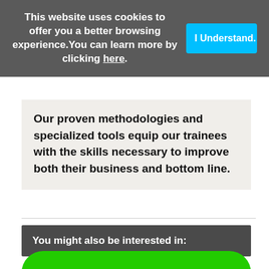This website uses cookies to offer you a better browsing experience.You can learn more by clicking here.
I Understand.
Our proven methodologies and specialized tools equip our trainees with the skills necessary to improve both their business and bottom line.
You might also be interested in:
[Figure (other): Green rounded button with white bold text reading HELLO (partially visible at bottom of page)]